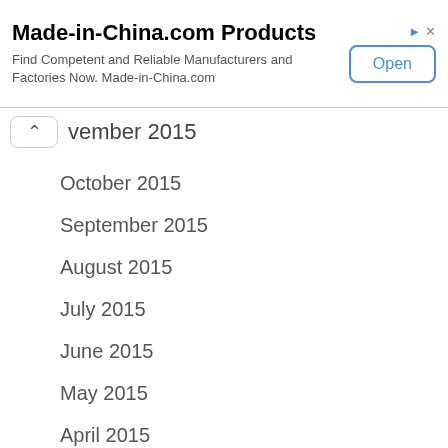[Figure (screenshot): Advertisement banner for Made-in-China.com Products with Open button]
November 2015
October 2015
September 2015
August 2015
July 2015
June 2015
May 2015
April 2015
March 2015
February 2015
January 2015
December 2014
November 2014